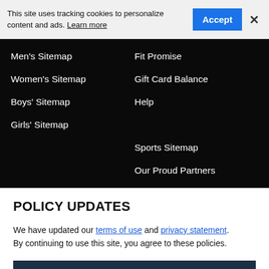This site uses tracking cookies to personalize content and ads. Learn more
Men's Sitemap
Women's Sitemap
Boys' Sitemap
Girls' Sitemap
Sports Sitemap
Our Proud Partners
Fit Promise
Gift Card Balance
Help
POLICY UPDATES
We have updated our terms of use and privacy statement. By continuing to use this site, you agree to these policies.
I AGREE